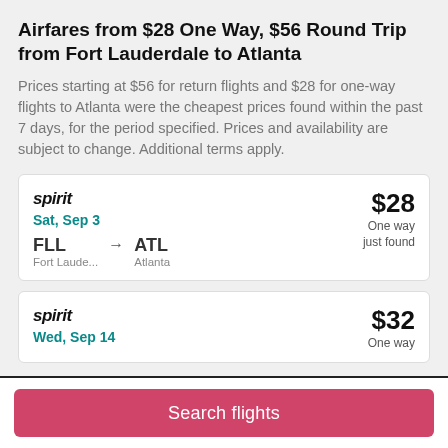Airfares from $28 One Way, $56 Round Trip from Fort Lauderdale to Atlanta
Prices starting at $56 for return flights and $28 for one-way flights to Atlanta were the cheapest prices found within the past 7 days, for the period specified. Prices and availability are subject to change. Additional terms apply.
spirit | Sat, Sep 3 | FLL Fort Laude... → ATL Atlanta | $28 One way just found
spirit | Wed, Sep 14 | $32 One way
Search flights